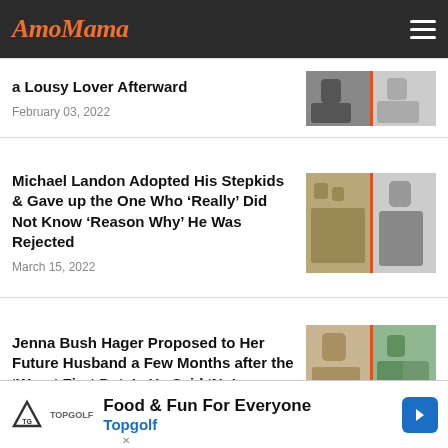AmoMama
a Lousy Lover Afterward
February 03, 2022
Michael Landon Adopted His Stepkids & Gave up the One Who 'Really' Did Not Know 'Reason Why' He Was Rejected
March 15, 2022
Jenna Bush Hager Proposed to Her Future Husband a Few Months after the 'Worst First Date' - He Said 'No'
March 29, 2022
Food & Fun For Everyone
Topgolf